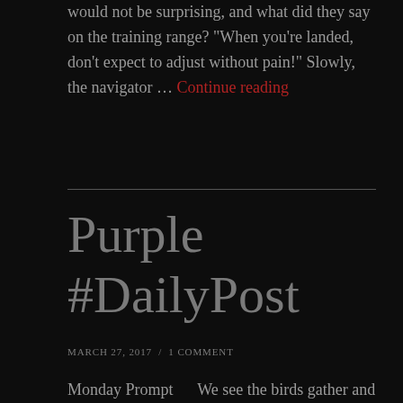would not be surprising, and what did they say on the training range? "When you're landed, don't expect to adjust without pain!" Slowly, the navigator … Continue reading
Purple #DailyPost
MARCH 27, 2017 / 1 COMMENT
Monday Prompt     We see the birds gather and fly,